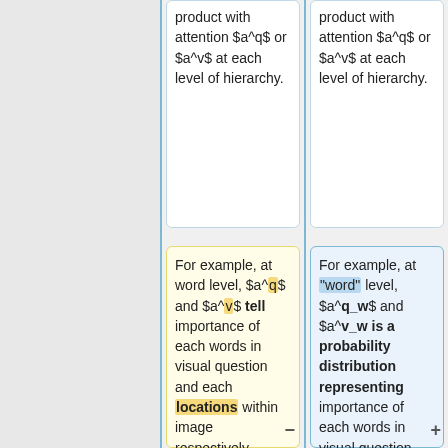product with attention $a^q$ or $a^v$ at each level of hierarchy.
product with attention $a^q$ or $a^v$ at each level of hierarchy.
For example, at word level, $a^q$ and $a^v$ tell importance of each words in visual question and each locations within image respectively, whereas $\hat{q}^w$ and $\hat{v}^w$ are final features vectors representing question and
For example, at "word" level, $a^q_w$ and $a^v_w$ is a probability distribution representing importance of each words in visual question and each location within image respectively, whereas $\hat{q}^w$ and $\hat{v}^w$ are